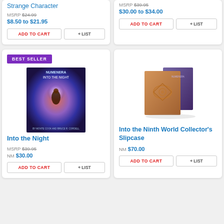Strange Character
MSRP $24.99
$8.50 to $21.95
ADD TO CART
+ LIST
MSRP $39.95
$30.00 to $34.00
ADD TO CART
+ LIST
BEST SELLER
[Figure (photo): Book cover: Numenera Into the Night, showing a figure in a glowing portal with sci-fi/fantasy art]
Into the Night
MSRP $39.95
NM $30.00
ADD TO CART
+ LIST
[Figure (photo): Product photo: Into the Ninth World Collector's Slipcase, showing two box sets standing together]
Into the Ninth World Collector's Slipcase
NM $70.00
ADD TO CART
+ LIST